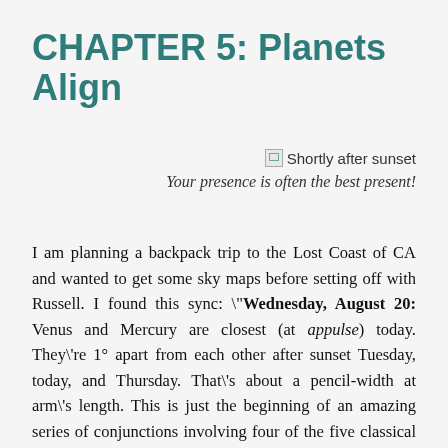CHAPTER 5: Planets Align
[Figure (photo): Broken image placeholder with alt text 'Shortly after sunset']
Your presence is often the best present!
I am planning a backpack trip to the Lost Coast of CA and wanted to get some sky maps before setting off with Russell. I found this sync: "Wednesday, August 20: Venus and Mercury are closest (at appulse) today. They're 1° apart from each other after sunset Tuesday, today, and Thursday. That's about a pencil-width at arm's length. This is just the beginning of an amazing series of conjunctions involving four of the five classical planets that continues well into September: the